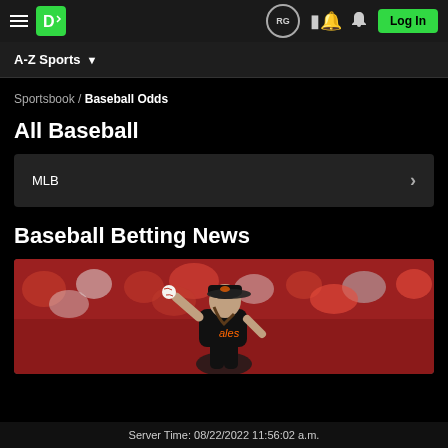DraftKings navigation bar with hamburger menu, DK logo, RG circle, bell icon, and Log In button
A-Z Sports
Sportsbook / Baseball Odds
All Baseball
MLB
Baseball Betting News
[Figure (photo): Baseball pitcher in Baltimore Orioles black uniform winding up to throw, crowd in background]
Server Time: 08/22/2022 11:56:02 a.m.